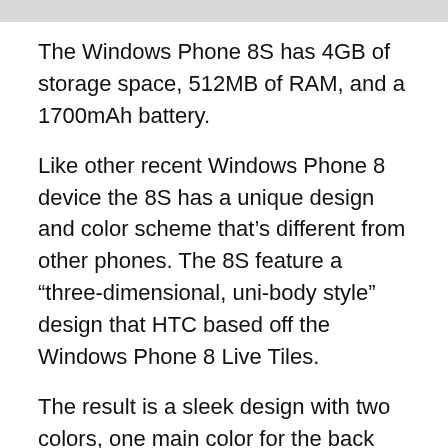The Windows Phone 8S has 4GB of storage space, 512MB of RAM, and a 1700mAh battery.
Like other recent Windows Phone 8 device the 8S has a unique design and color scheme that’s different from other phones. The 8S feature a “three-dimensional, uni-body style” design that HTC based off the Windows Phone 8 Live Tiles.
The result is a sleek design with two colors, one main color for the back and an accent for the bottom row of icons. The Windows Phone 8S comes in navy and light blue; black and white; gray and neon yellow; as well as red and orange-red. Press images of the color combinations are in the gallery below.
Windows Phone 8S by HTC will release sometime in November on AT&T, T-Mobile, and Verizon.